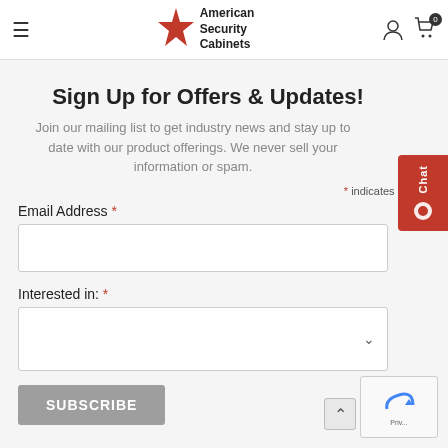American Security Cabinets
Sign Up for Offers & Updates!
Join our mailing list to get industry news and stay up to date with our product offerings. We never sell your information or spam.
* indicates required
Email Address *
Interested in: *
SUBSCRIBE